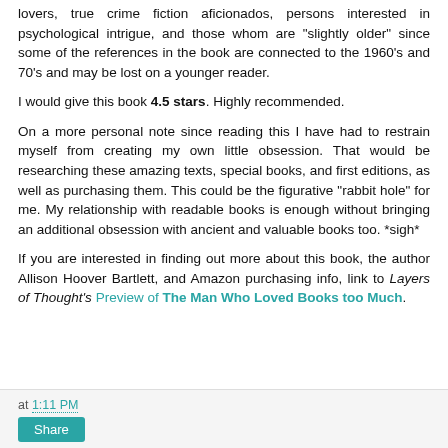lovers, true crime fiction aficionados, persons interested in psychological intrigue, and those whom are “slightly older” since some of the references in the book are connected to the 1960’s and 70’s and may be lost on a younger reader.
I would give this book 4.5 stars. Highly recommended.
On a more personal note since reading this I have had to restrain myself from creating my own little obsession. That would be researching these amazing texts, special books, and first editions, as well as purchasing them. This could be the figurative “rabbit hole” for me. My relationship with readable books is enough without bringing an additional obsession with ancient and valuable books too. *sigh*
If you are interested in finding out more about this book, the author Allison Hoover Bartlett, and Amazon purchasing info, link to Layers of Thought’s Preview of The Man Who Loved Books too Much.
at 1:11 PM
Share